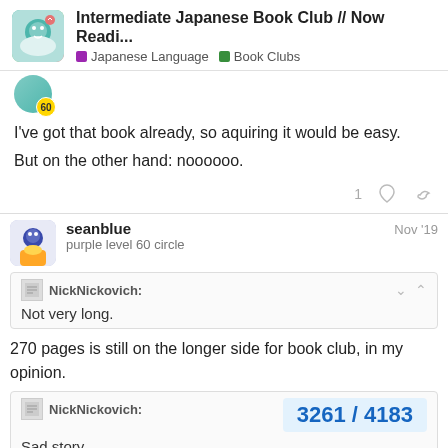Intermediate Japanese Book Club // Now Readi... | Japanese Language | Book Clubs
I've got that book already, so aquiring it would be easy.
But on the other hand: noooooo.
seanblue  Nov '19
purple level 60 circle
NickNickovich:
Not very long.
270 pages is still on the longer side for book club, in my opinion.
NickNickovich:
Sad story
3261 / 4183